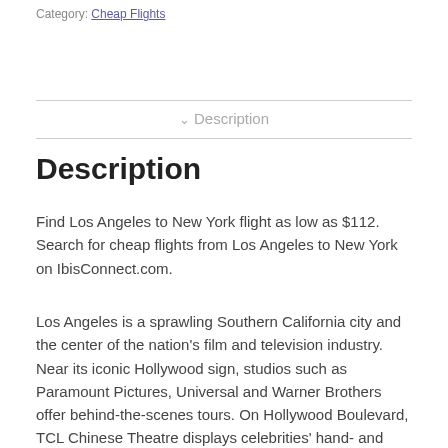Category: Cheap Flights
✓ Description
Description
Find Los Angeles to New York flight as low as $112. Search for cheap flights from Los Angeles to New York on IbisConnect.com.
Los Angeles is a sprawling Southern California city and the center of the nation's film and television industry. Near its iconic Hollywood sign, studios such as Paramount Pictures, Universal and Warner Brothers offer behind-the-scenes tours. On Hollywood Boulevard, TCL Chinese Theatre displays celebrities' hand- and footprints, the Walk of Fame honors thousands of